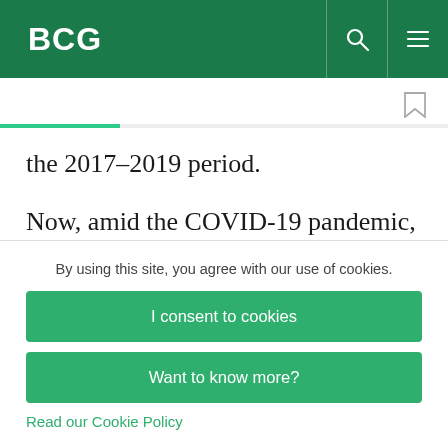BCG
the 2017–2019 period.
Now, amid the COVID-19 pandemic, the global economy is slowing drastically. Many markets have seen a dramatic decline in new vehicle sales, some
By using this site, you agree with our use of cookies.
I consent to cookies
Want to know more?
Read our Cookie Policy